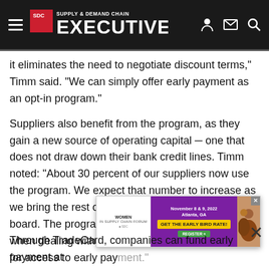Supply & Demand Chain Executive
it eliminates the need to negotiate discount terms," Timm said. "We can simply offer early payment as an opt-in program."
Suppliers also benefit from the program, as they gain a new source of operating capital — one that does not draw down their bank credit lines. Timm noted: "About 30 percent of our suppliers now use the program. We expect that number to increase as we bring the rest of our trading community on board. The program actually gives us an advantage when dealing with new suppliers, as they're excited for access to early payment."
[Figure (screenshot): Advertisement banner for Women in Supply Chain Forum, November 8 & 9, 2022, Atlanta, GA with 'GET THE EARLY BIRD RATE!' call to action and REGISTER button]
Through TradeCard, companies can fund early payment at